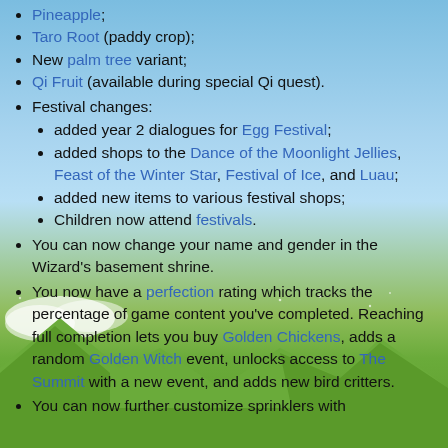Pineapple;
Taro Root (paddy crop);
New palm tree variant;
Qi Fruit (available during special Qi quest).
Festival changes:
added year 2 dialogues for Egg Festival;
added shops to the Dance of the Moonlight Jellies, Feast of the Winter Star, Festival of Ice, and Luau;
added new items to various festival shops;
Children now attend festivals.
You can now change your name and gender in the Wizard's basement shrine.
You now have a perfection rating which tracks the percentage of game content you've completed. Reaching full completion lets you buy Golden Chickens, adds a random Golden Witch event, unlocks access to The Summit with a new event, and adds new bird critters.
You can now further customize sprinklers with